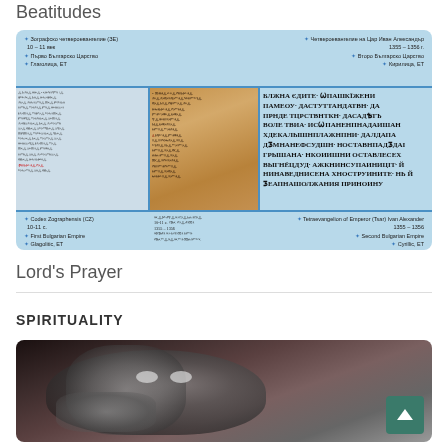Beatitudes
[Figure (photo): Comparison image of ancient Bulgarian manuscripts: Codex Zographensis (10-11 century, First Bulgarian Empire, Glagolitic, ET) on the left, a parchment manuscript in the center, and Tetraevangelion of Emperor (Tsar) Ivan Alexander (1355-1356, Second Bulgarian Empire, Cyrillic, ET) on the right, on a light blue background.]
Lord's Prayer
SPIRITUALITY
[Figure (photo): Black and white close-up photo of an elderly person in contemplative pose, head resting on hand, with a green back-to-top button in the lower right corner.]